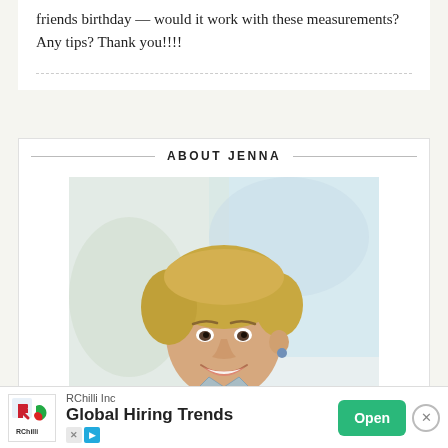friends birthday — would it work with these measurements? Any tips? Thank you!!!!
ABOUT JENNA
[Figure (photo): Portrait photo of a smiling blonde woman with short hair wearing a light blue denim shirt, photographed in a bright indoor setting]
RChilli Inc — Global Hiring Trends — Open